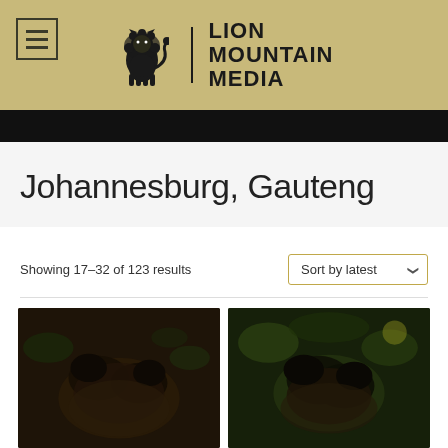Lion Mountain Media — navigation header with logo
Johannesburg, Gauteng
Showing 17–32 of 123 results
[Figure (photo): Dark close-up photo of an animal or insect, left thumbnail]
[Figure (photo): Dark close-up photo of an animal or insect, right thumbnail]